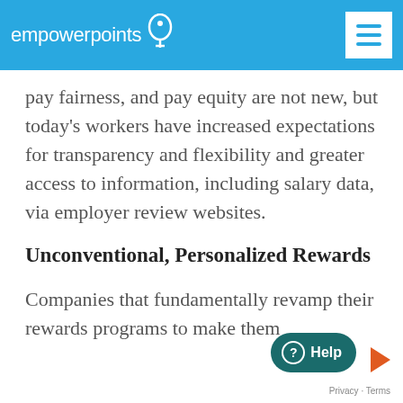empowerpoints
pay fairness, and pay equity are not new, but today's workers have increased expectations for transparency and flexibility and greater access to information, including salary data, via employer review websites.
Unconventional, Personalized Rewards
Companies that fundamentally revamp their rewards programs to make them